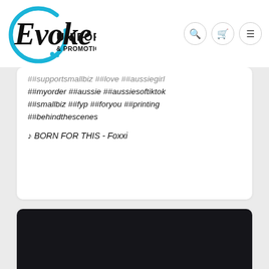[Figure (logo): Evoke Uniforms & Promotional logo - stylized cursive 'Evoke' text with blue circle brushstroke, bold 'UNIFORMS & PROMOTIONAL' text below]
##supportsmallbiz ##love ##aussiegirl ##myorder ##aussie ##aussiesoftiktok ##smallbiz ##fyp ##foryou ##printing ##behindthescenes
♪ BORN FOR THIS - Foxxi
[Figure (photo): Dark/black video thumbnail or image, nearly entirely dark with no visible subject]